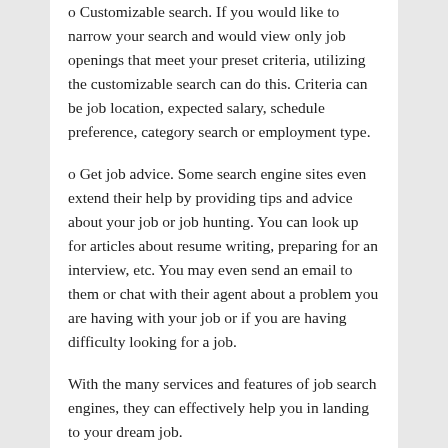o Customizable search. If you would like to narrow your search and would view only job openings that meet your preset criteria, utilizing the customizable search can do this. Criteria can be job location, expected salary, schedule preference, category search or employment type.
o Get job advice. Some search engine sites even extend their help by providing tips and advice about your job or job hunting. You can look up for articles about resume writing, preparing for an interview, etc. You may even send an email to them or chat with their agent about a problem you are having with your job or if you are having difficulty looking for a job.
With the many services and features of job search engines, they can effectively help you in landing to your dream job.
Dave Poon is an accomplished writer who specializes in the latest in Career and Employment. For more information regarding Job Search Engines [http://www.job